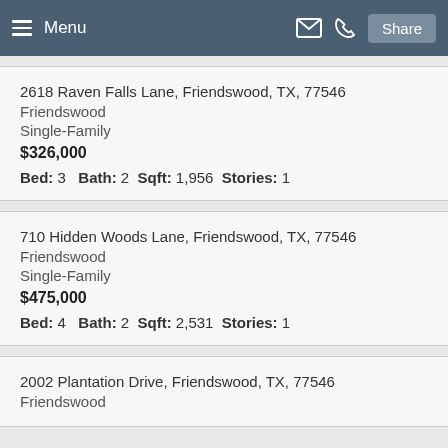Menu | Share
2618 Raven Falls Lane, Friendswood, TX, 77546
Friendswood
Single-Family
$326,000
Bed: 3  Bath: 2  Sqft: 1,956  Stories: 1
710 Hidden Woods Lane, Friendswood, TX, 77546
Friendswood
Single-Family
$475,000
Bed: 4  Bath: 2  Sqft: 2,531  Stories: 1
2002 Plantation Drive, Friendswood, TX, 77546
Friendswood